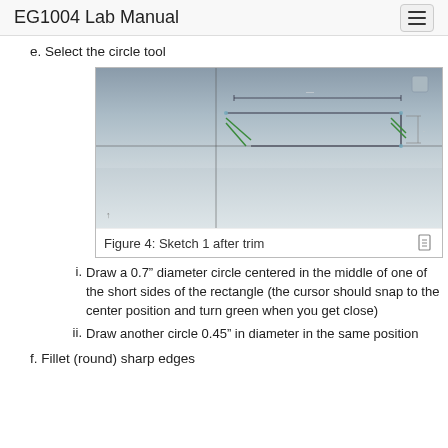EG1004 Lab Manual
e. Select the circle tool
[Figure (screenshot): Screenshot of a CAD sketch showing a trimmed rectangle shape with construction geometry lines in SolidWorks or similar software. The sketch has green geometry lines on a grey gradient background.]
Figure 4: Sketch 1 after trim
i. Draw a 0.7” diameter circle centered in the middle of one of the short sides of the rectangle (the cursor should snap to the center position and turn green when you get close)
ii. Draw another circle 0.45” in diameter in the same position
f. Fillet (round) sharp edges